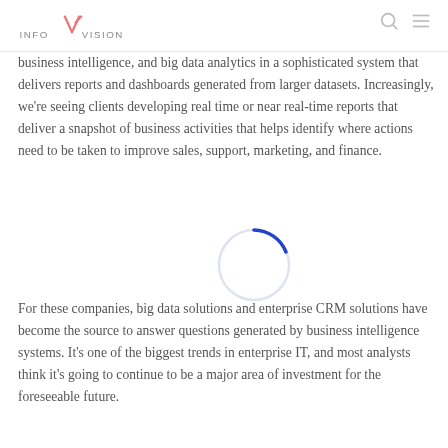InfoVision
business intelligence, and big data analytics in a sophisticated system that delivers reports and dashboards generated from larger datasets. Increasingly, we're seeing clients developing real time or near real-time reports that deliver a snapshot of business activities that helps identify where actions need to be taken to improve sales, support, marketing, and finance.
[Figure (other): A loading spinner / circle graphic (browser loading indicator) overlaid on the text, with a dark blue arc at the top and a light blue/white circle outline.]
For these companies, big data solutions and enterprise CRM solutions have become the source to answer questions generated by business intelligence systems. It's one of the biggest trends in enterprise IT, and most analysts think it's going to continue to be a major area of investment for the foreseeable future.